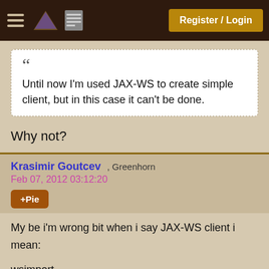Register / Login
Until now I'm used JAX-WS to create simple client, but in this case it can't be done.
Why not?
Krasimir Goutcev , Greenhorn
Feb 07, 2012 03:12:20
+Pie
My be i'm wrong bit when i say JAX-WS client i mean:

wsimport .....

This command will create client from WS

When i try to use this client i get: ....Undefined port